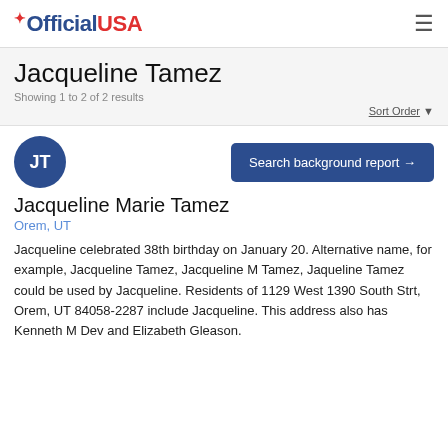OfficialUSA
Jacqueline Tamez
Showing 1 to 2 of 2 results
Sort Order ▾
[Figure (other): Circular avatar with initials JT in dark blue]
Search background report →
Jacqueline Marie Tamez
Orem, UT
Jacqueline celebrated 38th birthday on January 20. Alternative name, for example, Jacqueline Tamez, Jacqueline M Tamez, Jaqueline Tamez could be used by Jacqueline. Residents of 1129 West 1390 South Strt, Orem, UT 84058-2287 include Jacqueline. This address also has Kenneth M Dev and Elizabeth Gleason.